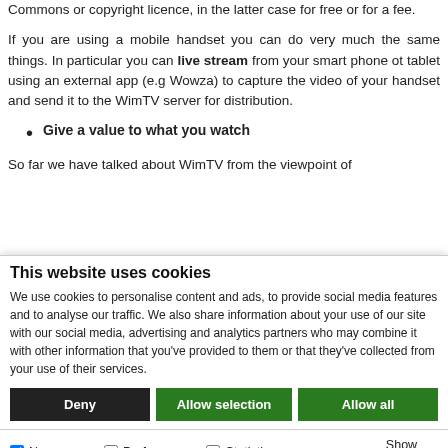Commons or copyright licence, in the latter case for free or for a fee.
If you are using a mobile handset you can do very much the same things. In particular you can live stream from your smart phone ot tablet using an external app (e.g Wowza) to capture the video of your handset and send it to the WimTV server for distribution.
Give a value to what you watch
So far we have talked about WimTV from the viewpoint of
This website uses cookies
We use cookies to personalise content and ads, to provide social media features and to analyse our traffic. We also share information about your use of our site with our social media, advertising and analytics partners who may combine it with other information that you've provided to them or that they've collected from your use of their services.